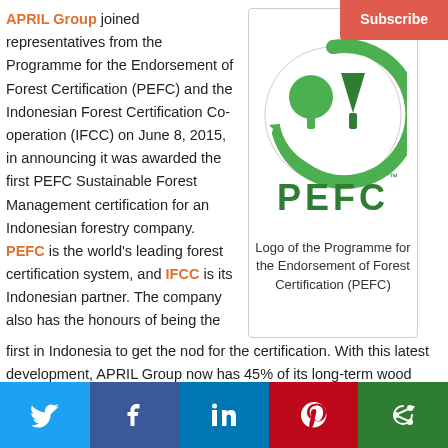APRIL Group joined representatives from the Programme for the Endorsement of Forest Certification (PEFC) and the Indonesian Forest Certification Co-operation (IFCC) on June 8, 2015, in announcing it was awarded the first PEFC Sustainable Forest Management certification for an Indonesian forestry company. PEFC is the world's leading forest certification system, and IFCC is its Indonesian partner. The company also has the honours of being the first in Indonesia to get the nod for the certification. With this latest development, APRIL Group now has 45% of its long-term wood supply PEFC-certified in Indonesia, along with over 300,000 hectares of its concession areas certified. Its manufacturing operations are already PEFC Chain-of-Custody certified. This means APRIL Group is now
[Figure (logo): PEFC logo: green circular arrow with tree icons, text PEFC in green bold letters]
Logo of the Programme for the Endorsement of Forest Certification (PEFC)
Social sharing bar: Twitter, Facebook, LinkedIn, Pinterest, Other